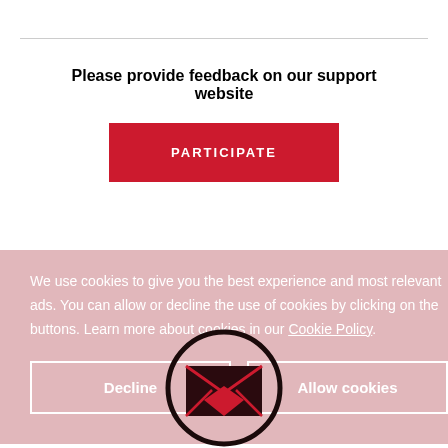Please provide feedback on our support website
[Figure (other): Red 'PARTICIPATE' button]
We use cookies to give you the best experience and most relevant ads. You can allow or decline the use of cookies by clicking on the buttons. Learn more about cookies in our Cookie Policy.
[Figure (logo): Circular logo with envelope/M icon at bottom of page]